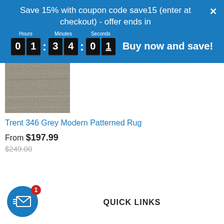Save 15% with coupon code save15 (enter at checkout) - offer ends in
[Figure (infographic): Countdown timer showing 01:34:01 with labels Hours, Minutes, Seconds and text 'Buy now and save!']
[Figure (photo): Grey Modern Patterned Rug product image]
Trent 346 Grey Modern Patterned Rug
From $197.99
$249.00
[Figure (infographic): Email notification icon - blue circle with envelope and badge showing 1]
QUICK LINKS